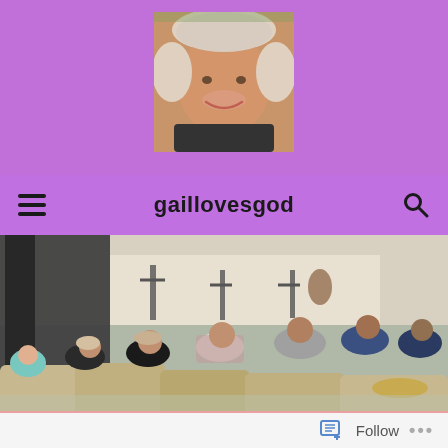[Figure (photo): Purple header background with a portrait photo of a smiling middle-aged woman with blonde hair]
gaillovesgod
[Figure (photo): Group of people kneeling in prayer on the floor of a church or event space, facing toward the front stage]
TAG: PROVERBS 18:21
[Figure (screenshot): Bottom bar with Follow button and ellipsis menu]